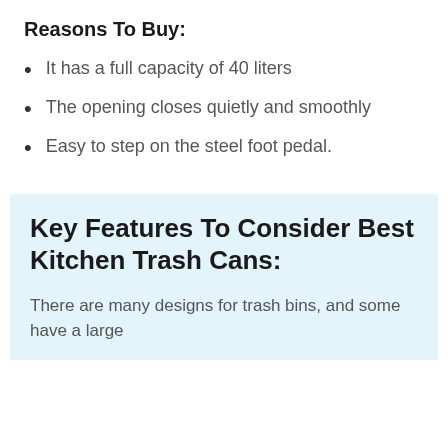Reasons To Buy:
It has a full capacity of 40 liters
The opening closes quietly and smoothly
Easy to step on the steel foot pedal.
Key Features To Consider Best Kitchen Trash Cans:
There are many designs for trash bins, and some have a large